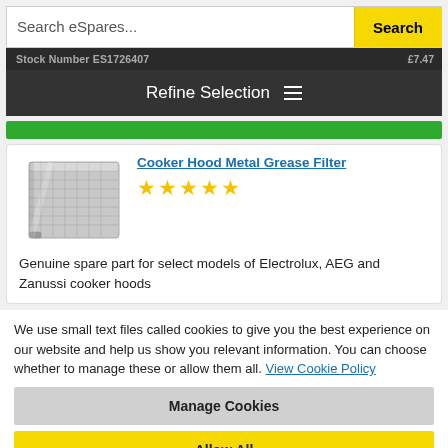Search eSpares...  Search
Refine Selection
Cooker Hood Metal Grease Filter
[Figure (photo): Metal grease filter for cooker hood, silver metallic mesh panel]
Genuine spare part for select models of Electrolux, AEG and Zanussi cooker hoods
We use small text files called cookies to give you the best experience on our website and help us show you relevant information. You can choose whether to manage these or allow them all. View Cookie Policy
Manage Cookies
Allow All